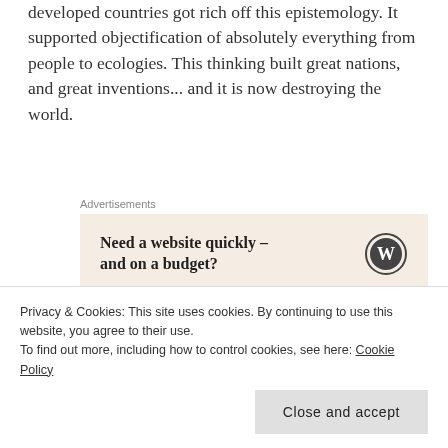developed countries got rich off this epistemology. It supported objectification of absolutely everything from people to ecologies. This thinking built great nations, and great inventions... and it is now destroying the world.
[Figure (other): WordPress advertisement banner with text 'Need a website quickly – and on a budget?' and WordPress logo on a beige background, labeled 'Advertisements']
Let's be frank, the hold up on educational systems change is the adults' fault, not the kids'. Students are
Privacy & Cookies: This site uses cookies. By continuing to use this website, you agree to their use. To find out more, including how to control cookies, see here: Cookie Policy
education system as it is now is as toxic to teachers